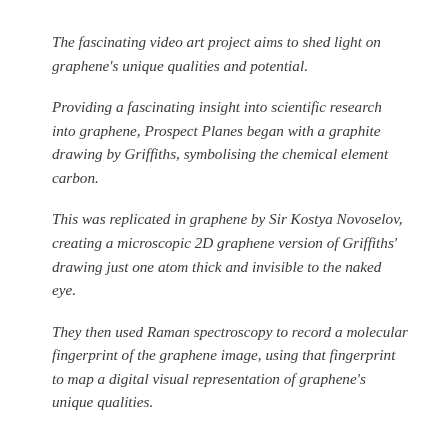The fascinating video art project aims to shed light on graphene's unique qualities and potential.
Providing a fascinating insight into scientific research into graphene, Prospect Planes began with a graphite drawing by Griffiths, symbolising the chemical element carbon.
This was replicated in graphene by Sir Kostya Novoselov, creating a microscopic 2D graphene version of Griffiths' drawing just one atom thick and invisible to the naked eye.
They then used Raman spectroscopy to record a molecular fingerprint of the graphene image, using that fingerprint to map a digital visual representation of graphene's unique qualities.